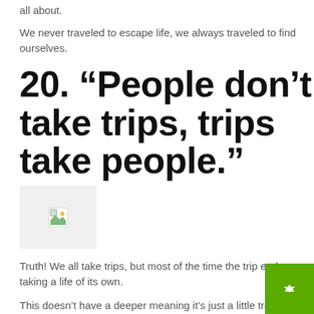all about.
We never traveled to escape life, we always traveled to find ourselves.
20. “People don’t take trips, trips take people.”
[Figure (photo): Broken image placeholder with gray background]
Truth! We all take trips, but most of the time the trip ends up taking a life of its own.
This doesn’t have a deeper meaning it’s just a little travel quote we want to share.